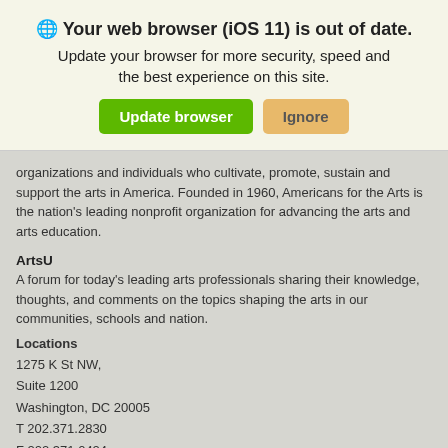Your web browser (iOS 11) is out of date.
Update your browser for more security, speed and the best experience on this site.
[Figure (screenshot): Two buttons: 'Update browser' (green) and 'Ignore' (tan/orange)]
organizations and individuals who cultivate, promote, sustain and support the arts in America. Founded in 1960, Americans for the Arts is the nation's leading nonprofit organization for advancing the arts and arts education.
ArtsU
A forum for today's leading arts professionals sharing their knowledge, thoughts, and comments on the topics shaping the arts in our communities, schools and nation.
Locations
1275 K St NW,
Suite 1200
Washington, DC 20005
T 202.371.2830
F 202.371.0424
© 2022
Americans for the Arts